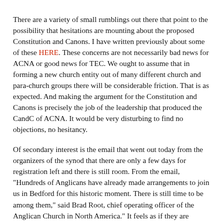There are a variety of small rumblings out there that point to the possibility that hesitations are mounting about the proposed Constitution and Canons. I have written previously about some of these HERE. These concerns are not necessarily bad news for ACNA or good news for TEC. We ought to assume that in forming a new church entity out of many different church and para-church groups there will be considerable friction. That is as expected. And making the argument for the Constitution and Canons is precisely the job of the leadership that produced the CandC of ACNA. It would be very disturbing to find no objections, no hesitancy.
Of secondary interest is the email that went out today from the organizers of the synod that there are only a few days for registration left and there is still room. From the email, "Hundreds of Anglicans have already made arrangements to join us in Bedford for this historic moment. There is still time to be among them," said Brad Root, chief operating officer of the Anglican Church in North America." It feels as if they are having to drum up business.
The commentary by Moderator Duncan includes several